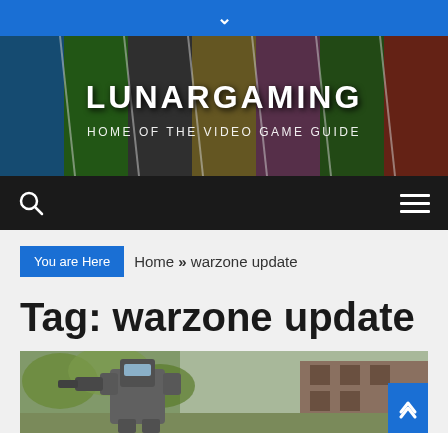▼
[Figure (illustration): LunarGaming website banner featuring collage of video game characters including Link, Call of Duty soldier, Halo Master Chief, a female character, a jungle scene, and Kratos. Text reads LUNARGAMING HOME OF THE VIDEO GAME GUIDE.]
Navigation bar with search icon and hamburger menu
You are Here   Home » warzone update
Tag: warzone update
[Figure (screenshot): A video game screenshot showing a large armored robot/mech character in an outdoor environment with trees and a building in the background.]